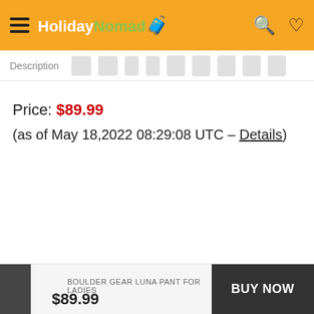HolidayNomad
Description
Price: $89.99
(as of May 18,2022 08:29:08 UTC – Details)
BOULDER GEAR LUNA PANT FOR LADIES  $89.99  BUY NOW